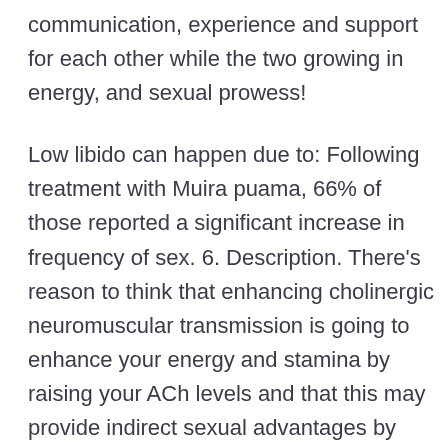communication, experience and support for each other while the two growing in energy, and sexual prowess!
Low libido can happen due to: Following treatment with Muira puama, 66% of those reported a significant increase in frequency of sex. 6. Description. There’s reason to think that enhancing cholinergic neuromuscular transmission is going to enhance your energy and stamina by raising your ACh levels and that this may provide indirect sexual advantages by allowing you to perform more and with more energy.